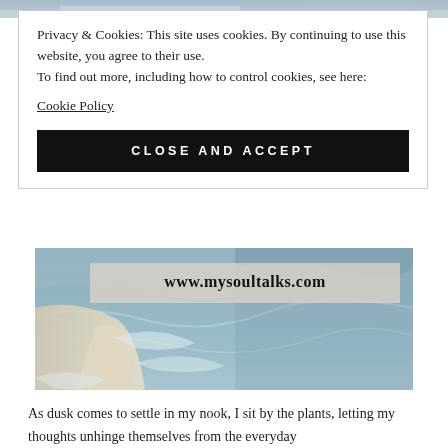[Figure (photo): Aerial view of beach/ocean with waves and sand, cropped at top]
Privacy & Cookies: This site uses cookies. By continuing to use this website, you agree to their use.
To find out more, including how to control cookies, see here:
Cookie Policy
CLOSE AND ACCEPT
[Figure (photo): Aerial view of ocean waves and sandy beach with www.mysoultalks.com text overlay on a beige banner]
As dusk comes to settle in my nook, I sit by the plants, letting my thoughts unhinge themselves from the everyday